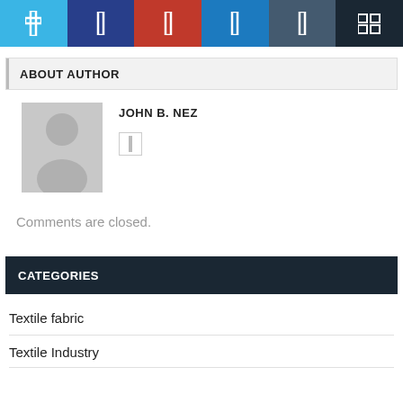[Figure (other): Social media share button bar with 6 colored buttons containing icons]
ABOUT AUTHOR
[Figure (photo): Default grey avatar silhouette placeholder image for author John B. Nez]
JOHN B. NEZ
Comments are closed.
CATEGORIES
Textile fabric
Textile Industry